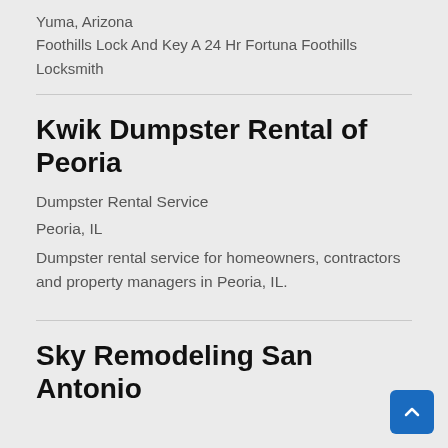Yuma, Arizona
Foothills Lock And Key A 24 Hr Fortuna Foothills Locksmith
Kwik Dumpster Rental of Peoria
Dumpster Rental Service
Peoria, IL
Dumpster rental service for homeowners, contractors and property managers in Peoria, IL.
Sky Remodeling San Antonio